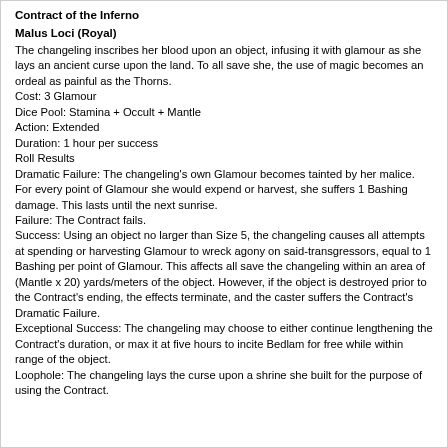Contract of the Inferno
Malus Loci (Royal)
The changeling inscribes her blood upon an object, infusing it with glamour as she lays an ancient curse upon the land. To all save she, the use of magic becomes an ordeal as painful as the Thorns.
Cost: 3 Glamour
Dice Pool: Stamina + Occult + Mantle
Action: Extended
Duration: 1 hour per success
Roll Results
Dramatic Failure: The changeling's own Glamour becomes tainted by her malice. For every point of Glamour she would expend or harvest, she suffers 1 Bashing damage. This lasts until the next sunrise.
Failure: The Contract fails.
Success: Using an object no larger than Size 5, the changeling causes all attempts at spending or harvesting Glamour to wreck agony on said-transgressors, equal to 1 Bashing per point of Glamour. This affects all save the changeling within an area of (Mantle x 20) yards/meters of the object. However, if the object is destroyed prior to the Contract's ending, the effects terminate, and the caster suffers the Contract's Dramatic Failure.
Exceptional Success: The changeling may choose to either continue lengthening the Contract's duration, or max it at five hours to incite Bedlam for free while within range of the object.
Loophole: The changeling lays the curse upon a shrine she built for the purpose of using the Contract.